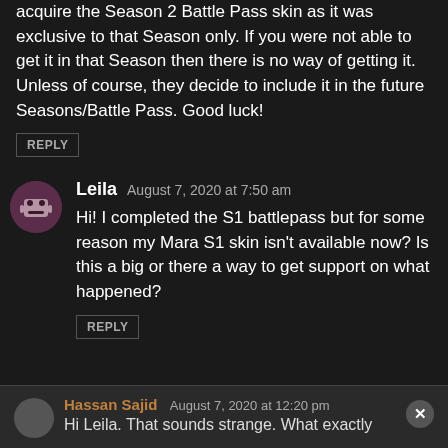acquire the Season 2 Battle Pass skin as it was exclusive to that Season only. If you were not able to get it in that Season then there is no way of getting it. Unless of course, they decide to include it in the future Seasons/Battle Pass. Good luck!
REPLY
Leila  August 7, 2020 at 7:50 am
Hi! I completed the S1 battlepass but for some reason my Mara S1 skin isn't available now? Is this a big or there a way to get support on what happened?
REPLY
Hassan Sajid  August 7, 2020 at 12:20 pm
Hi Leila. That sounds strange. What exactly